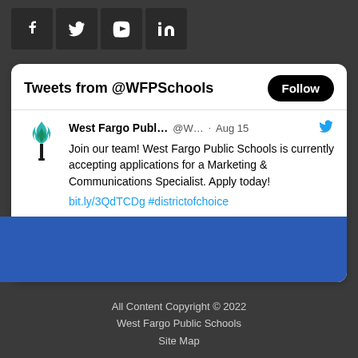[Figure (screenshot): Social media icon bar with Facebook, Twitter, YouTube, and LinkedIn icons on dark background]
[Figure (screenshot): Twitter widget card showing tweets from @WFPSchools with a Follow button, tweet from West Fargo Public Schools dated Aug 15 about a Marketing & Communications Specialist job opening, with link bit.ly/3QdTCDg #districtofchoice and a blue image preview]
All Content Copyright © 2022 West Fargo Public Schools Site Map